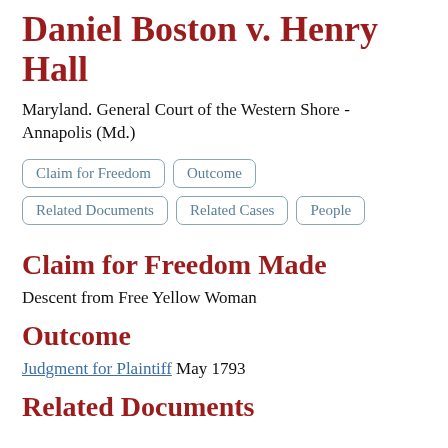Daniel Boston v. Henry Hall
Maryland. General Court of the Western Shore - Annapolis (Md.)
Claim for Freedom
Outcome
Related Documents
Related Cases
People
Claim for Freedom Made
Descent from Free Yellow Woman
Outcome
Judgment for Plaintiff May 1793
Related Documents